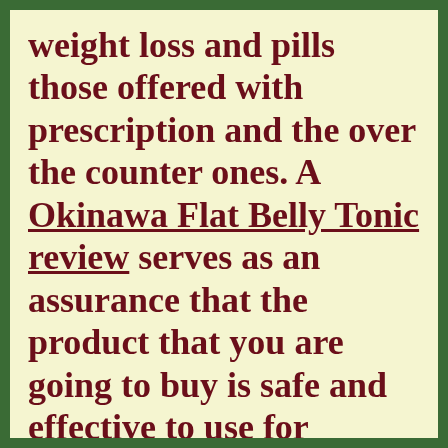weight loss and pills those offered with prescription and the over the counter ones. A Okinawa Flat Belly Tonic review serves as an assurance that the product that you are going to buy is safe and effective to use for